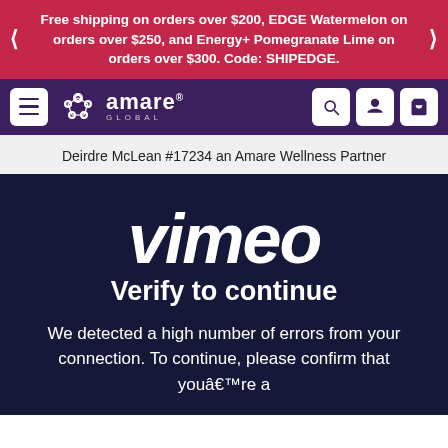Free shipping on orders over $200, EDGE Watermelon on orders over $250, and Energy+ Pomegranate Lime on orders over $300. Code: SHIPEDGE.
[Figure (logo): Amare Global logo with flower/circles icon and wordmark on dark purple navigation bar]
Deirdre McLean #17234 an Amare Wellness Partner
[Figure (screenshot): Vimeo verification page on dark navy background showing Vimeo logo, 'Verify to continue' heading, and error message text]
vimeo
Verify to continue
We detected a high number of errors from your connection. To continue, please confirm that youâre a